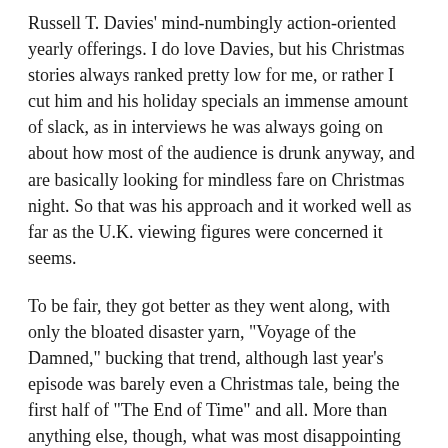Russell T. Davies' mind-numbingly action-oriented yearly offerings. I do love Davies, but his Christmas stories always ranked pretty low for me, or rather I cut him and his holiday specials an immense amount of slack, as in interviews he was always going on about how most of the audience is drunk anyway, and are basically looking for mindless fare on Christmas night. So that was his approach and it worked well as far as the U.K. viewing figures were concerned it seems.
To be fair, they got better as they went along, with only the bloated disaster yarn, "Voyage of the Damned," bucking that trend, although last year's episode was barely even a Christmas tale, being the first half of "The End of Time" and all. More than anything else, though, what was most disappointing about Davies' Christmas outings is how none of them ever became holiday traditions for me as a "Doctor Who" fan, which is pretty amazing since there were four to choose from. Indeed,